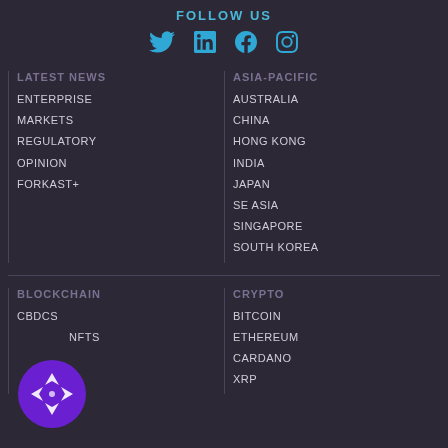FOLLOW US
[Figure (infographic): Social media icons: Twitter, LinkedIn, Facebook, Instagram in cyan/blue color]
LATEST NEWS
ENTERPRISE
MARKETS
REGULATORY
OPINION
FORKAST+
ASIA-PACIFIC
AUSTRALIA
CHINA
HONG KONG
INDIA
JAPAN
SE ASIA
SINGAPORE
SOUTH KOREA
BLOCKCHAIN
CBDCS
NFTS
CRYPTO
BITCOIN
ETHEREUM
CARDANO
XRP
[Figure (logo): Forkast logo - circular purple badge with white arrow/compass design]